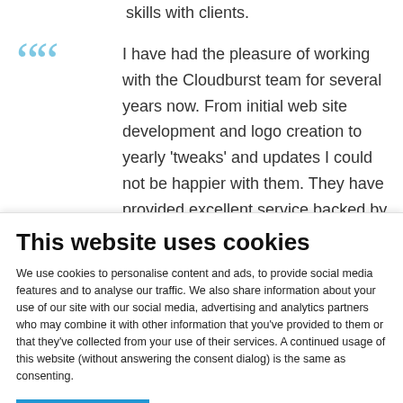skills with clients.
I have had the pleasure of working with the Cloudburst team for several years now. From initial web site development and logo creation to yearly 'tweaks' and updates I could not be happier with them. They have provided excellent service backed by artistic and creative abilities that
This website uses cookies
We use cookies to personalise content and ads, to provide social media features and to analyse our traffic. We also share information about your use of our site with our social media, advertising and analytics partners who may combine it with other information that you've provided to them or that they've collected from your use of their services. A continued usage of this website (without answering the consent dialog) is the same as consenting.
OK
Settings